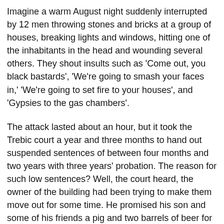Imagine a warm August night suddenly interrupted by 12 men throwing stones and bricks at a group of houses, breaking lights and windows, hitting one of the inhabitants in the head and wounding several others. They shout insults such as 'Come out, you black bastards', 'We're going to smash your faces in,' 'We're going to set fire to your houses', and 'Gypsies to the gas chambers'.
The attack lasted about an hour, but it took the Trebic court a year and three months to hand out suspended sentences of between four months and two years with three years' probation. The reason for such low sentences? Well, the court heard, the owner of the building had been trying to make them move out for some time. He promised his son and some of his friends a pig and two barrels of beer for scaring the tenants off.